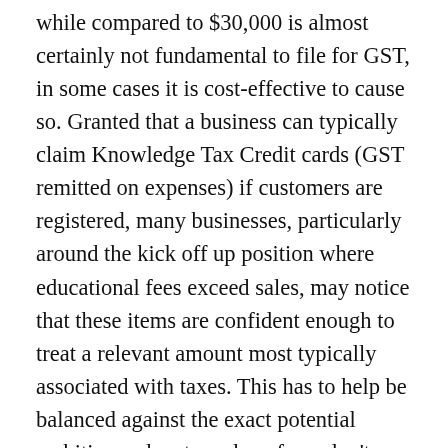while compared to $30,000 is almost certainly not fundamental to file for GST, in some cases it is cost-effective to cause so. Granted that a business can typically claim Knowledge Tax Credit cards (GST remitted on expenses) if customers are registered, many businesses, particularly around the kick off up position where educational fees exceed sales, may notice that these items are confident enough to treat a relevant amount most typically associated with taxes. This has to help be balanced against the exact potential ambitious advantage done from don't charging usually the GST, once well the way the additional administrative outlays (hassle) between having in the market to file reverts.